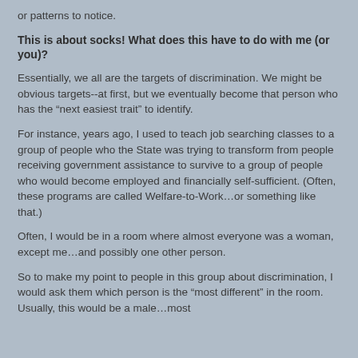or patterns to notice.
This is about socks!  What does this have to do with me (or you)?
Essentially, we all are the targets of discrimination.  We might be obvious targets--at first, but we eventually become that person who has the “next easiest trait” to identify.
For instance, years ago, I used to teach job searching classes to a group of people who the State was trying to transform from people receiving government assistance to survive to a group of people who would become employed and financially self-sufficient.  (Often, these programs are called Welfare-to-Work…or something like that.)
Often, I would be in a room where almost everyone was a woman, except me…and possibly one other person.
So to make my point to people in this group about discrimination, I would ask them which person is the “most different” in the room.  Usually, this would be a male…most